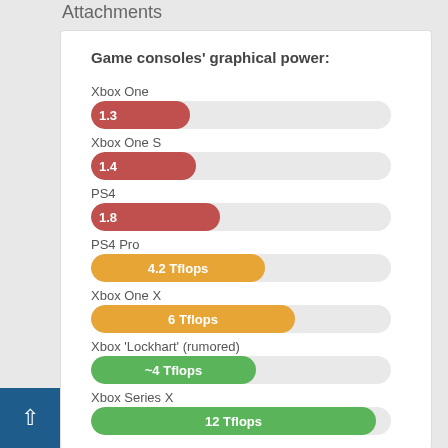Attachments
[Figure (bar-chart): Game consoles' graphical power:]